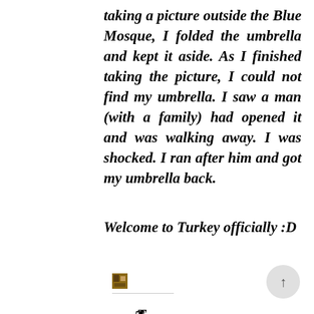taking a picture outside the Blue Mosque, I folded the umbrella and kept it aside. As I finished taking the picture, I could not find my umbrella. I saw a man (with a family) had opened it and was walking away. I was shocked. I ran after him and got my umbrella back.
Welcome to Turkey officially :D
[Figure (photo): Small avatar/profile thumbnail image]
This is t